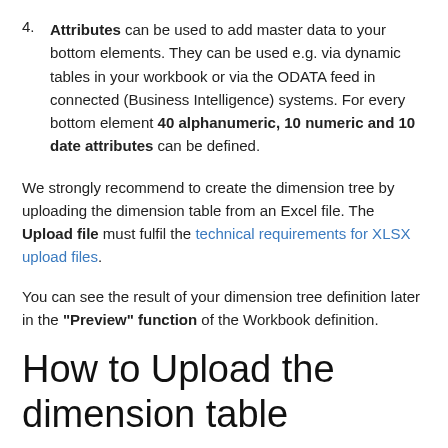Attributes can be used to add master data to your bottom elements. They can be used e.g. via dynamic tables in your workbook or via the ODATA feed in connected (Business Intelligence) systems. For every bottom element 40 alphanumeric, 10 numeric and 10 date attributes can be defined.
We strongly recommend to create the dimension tree by uploading the dimension table from an Excel file. The Upload file must fulfil the technical requirements for XLSX upload files.
You can see the result of your dimension tree definition later in the "Preview" function of the Workbook definition.
How to Upload the dimension table